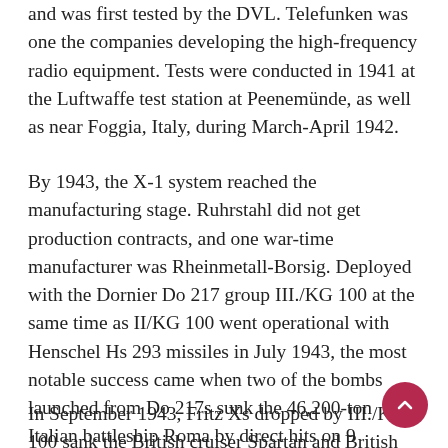and was first tested by the DVL. Telefunken was one the companies developing the high-frequency radio equipment. Tests were conducted in 1941 at the Luftwaffe test station at Peenemünde, as well as near Foggia, Italy, during March-April 1942.
By 1943, the X-1 system reached the manufacturing stage. Ruhrstahl did not get production contracts, and one war-time manufacturer was Rheinmetall-Borsig. Deployed with the Dornier Do 217 group III./KG 100 at the same time as II/KG 100 went operational with Henschel Hs 293 missiles in July 1943, the most notable success came when two of the bombs launched from Do 217s sunk the 46,200-ton Italian battleship Roma by direct hits on 9 September, when the Italian fleet embarked from La Spezia to surrender to the Allied fleet.
In September 1943, Fritz Xs dropped by III./KG 100 sank the British cruiser Spartan and British destroyer